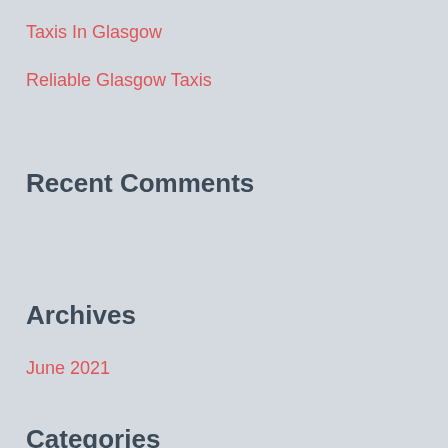Taxis In Glasgow
Reliable Glasgow Taxis
Recent Comments
Archives
June 2021
Categories